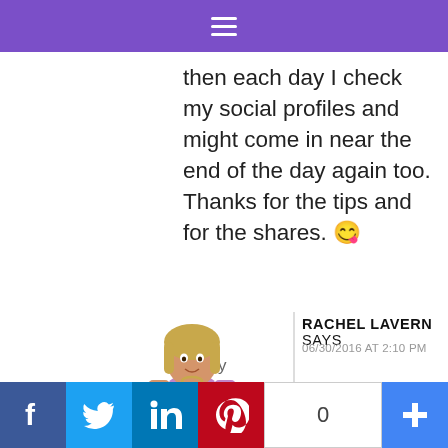then each day I check my social profiles and might come in near the end of the day again too. Thanks for the tips and for the shares. 😉
Reply
[Figure (illustration): Avatar illustration of Rachel Lavern, a woman with blonde hair wearing a purple outfit]
RACHEL LAVERN SAYS
06/30/2016 AT 2:10 PM
[Figure (infographic): Social sharing bar with Facebook, Twitter, LinkedIn, Pinterest buttons, share count of 0, and a plus button]